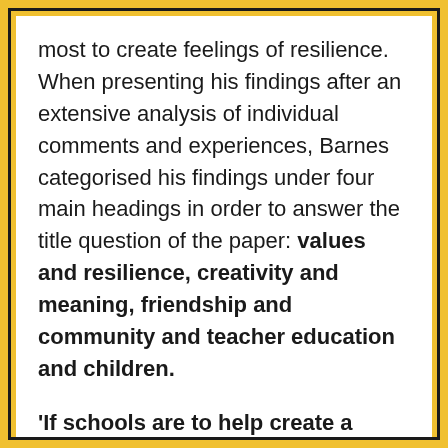most to create feelings of resilience. When presenting his findings after an extensive analysis of individual comments and experiences, Barnes categorised his findings under four main headings in order to answer the title question of the paper: values and resilience, creativity and meaning, friendship and community and teacher education and children.
'If schools are to help create a happy, present and sustainable future for children, their teachers should be confident, emotionally intelligent